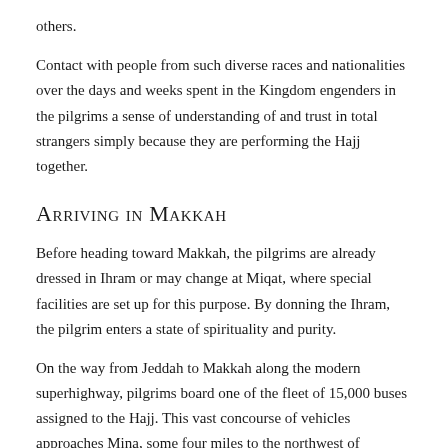others.
Contact with people from such diverse races and nationalities over the days and weeks spent in the Kingdom engenders in the pilgrims a sense of understanding of and trust in total strangers simply because they are performing the Hajj together.
Arriving in Makkah
Before heading toward Makkah, the pilgrims are already dressed in Ihram or may change at Miqat, where special facilities are set up for this purpose. By donning the Ihram, the pilgrim enters a state of spirituality and purity.
On the way from Jeddah to Makkah along the modern superhighway, pilgrims board one of the fleet of 15,000 buses assigned to the Hajj. This vast concourse of vehicles approaches Mina, some four miles to the northwest of Makkah, where most of the pilgrims are housed in the thousands of air-conditioned tents that stretch to the limits of Mina Valley.